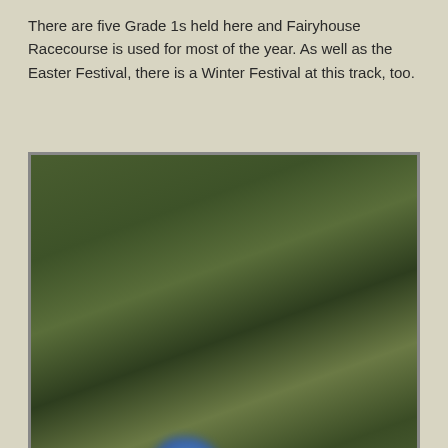There are five Grade 1s held here and Fairyhouse Racecourse is used for most of the year. As well as the Easter Festival, there is a Winter Festival at this track, too.
[Figure (photo): Blurred action photo of horse racing, showing multiple horses and jockeys in colorful silks mid-race, with green foliage in the background]
FAIRYHOUSE RACECOURSE FIXTURES AND EVENTS 2021